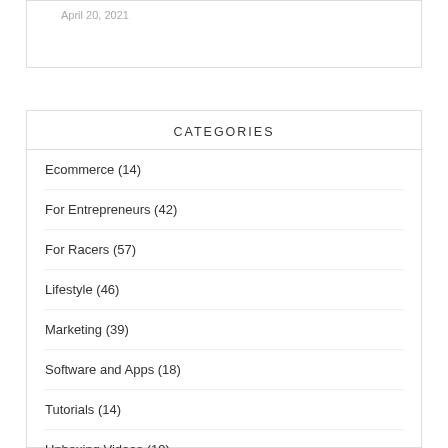April 20, 2021
CATEGORIES
Ecommerce (14)
For Entrepreneurs (42)
For Racers (57)
Lifestyle (46)
Marketing (39)
Software and Apps (18)
Tutorials (14)
Unboxing Videos (19)